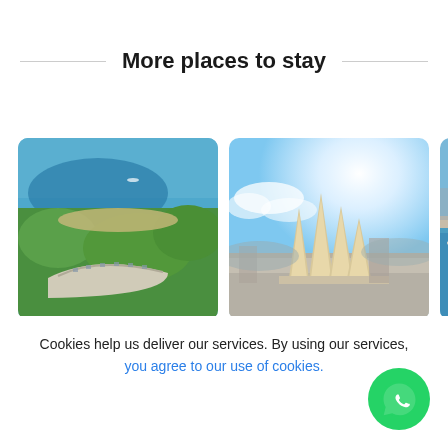More places to stay
[Figure (photo): Aerial view of a coastal resort with green forest, curved hotel building, and blue sea]
[Figure (photo): Sunny sky with distinctive tent-like spire structures of a building, Palma de Mallorca area]
[Figure (photo): Aerial view of a marina with sailboats and blue water]
Cookies help us deliver our services. By using our services, you agree to our use of cookies.
[Figure (logo): WhatsApp green circular icon button]